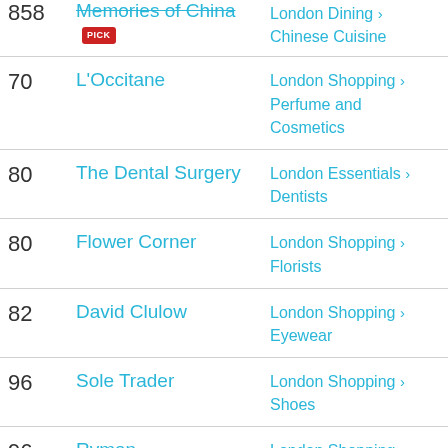858 - Memories of China PICK - London Dining > Chinese Cuisine
70 - L'Occitane - London Shopping > Perfume and Cosmetics
80 - The Dental Surgery - London Essentials > Dentists
80 - Flower Corner - London Shopping > Florists
82 - David Clulow - London Shopping > Eyewear
96 - Sole Trader - London Shopping > Shoes
96 - Ryman - London Shopping > Office Supply
96 - Pavilion PICK - London Dining > British Cuisine